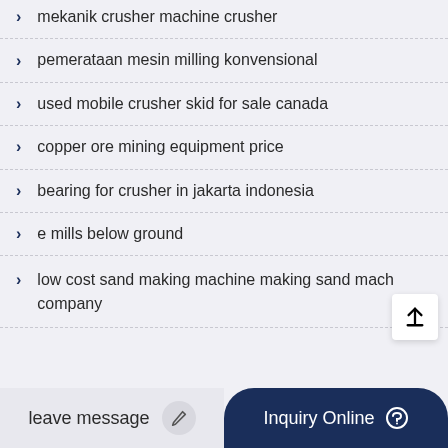mekanik crusher machine crusher
pemerataan mesin milling konvensional
used mobile crusher skid for sale canada
copper ore mining equipment price
bearing for crusher in jakarta indonesia
e mills below ground
low cost sand making machine making sand machine company
leave message
Inquiry Online